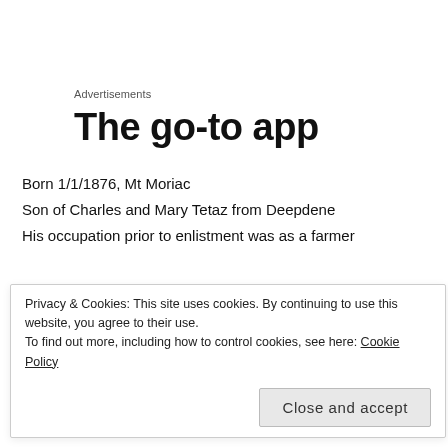Advertisements
The go-to app
Born 1/1/1876, Mt Moriac
Son of Charles and Mary Tetaz from Deepdene
His occupation prior to enlistment was as a farmer
Charles enlisted 23/03/1915 at Colac as a single man
He embarked for overseas 10/05/1915 from Melbourne on HMAT A38
Ulysses
Privacy & Cookies: This site uses cookies. By continuing to use this website, you agree to their use.
To find out more, including how to control cookies, see here: Cookie Policy
Close and accept